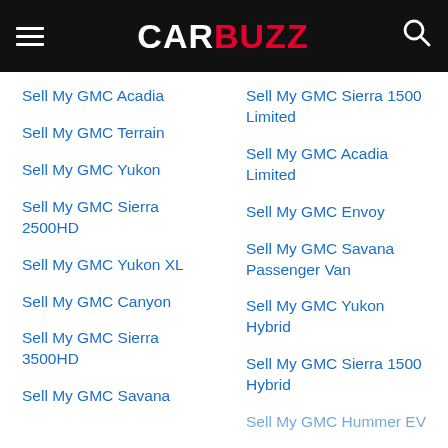CARBUZZ
Sell My GMC Acadia
Sell My GMC Terrain
Sell My GMC Yukon
Sell My GMC Sierra 2500HD
Sell My GMC Yukon XL
Sell My GMC Canyon
Sell My GMC Sierra 3500HD
Sell My GMC Savana
Sell My GMC Sierra 1500 Limited
Sell My GMC Acadia Limited
Sell My GMC Envoy
Sell My GMC Savana Passenger Van
Sell My GMC Yukon Hybrid
Sell My GMC Sierra 1500 Hybrid
Sell My GMC Hummer EV (partial, cut off)